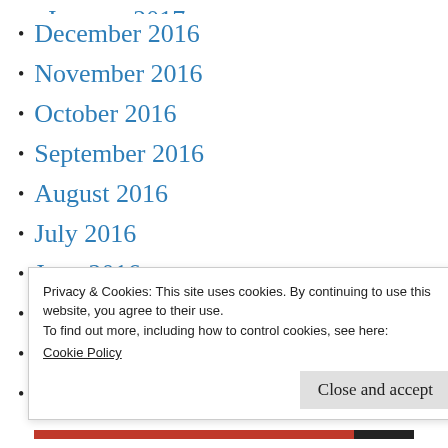January 2017
December 2016
November 2016
October 2016
September 2016
August 2016
July 2016
June 2016
May 2016
April 2016
March 2016
Privacy & Cookies: This site uses cookies. By continuing to use this website, you agree to their use.
To find out more, including how to control cookies, see here:
Cookie Policy
Close and accept